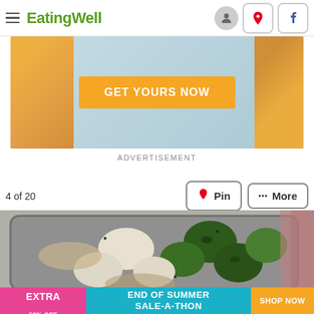EatingWell
[Figure (photo): Advertisement banner with orange 'GET YOURS NOW' button over a food background with vegetables]
ADVERTISEMENT
4 of 20
[Figure (photo): Roasted broccoli and cauliflower in a baking pan]
[Figure (photo): Bottom advertisement banner: GET UP TO AN EXTRA 50% OFF - END OF SUMMER SALE-A-THON - SHOP NOW]